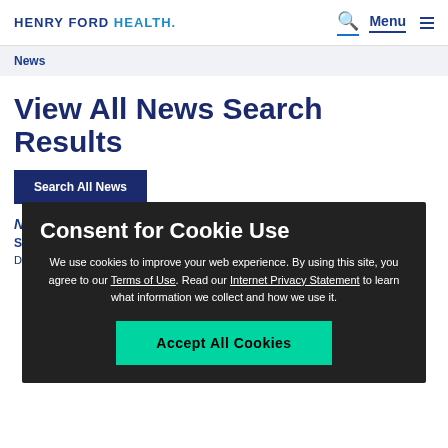HENRY FORD HEALTH. Menu
News
View All News Search Results
Search All News
New Smartphone App for Cancer Surgery Patients
September 16, 2013
DETROIT – With a single tap on a smartphone,
Consent for Cookie Use
We use cookies to improve your web experience. By using this site, you agree to our Terms of Use. Read our Internet Privacy Statement to learn what information we collect and how we use it.
Accept All Cookies